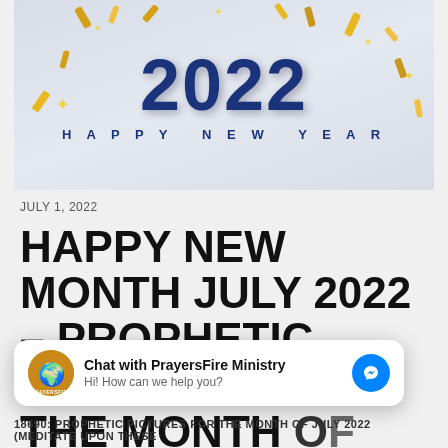[Figure (illustration): 2022 Happy New Year graphic with large bold dark blue '2022' text and gold confetti ribbons on a light grey background, with 'HAPPY NEW YEAR' text below]
JULY 1, 2022
HAPPY NEW MONTH JULY 2022 – PROPHETIC PICTURES FOR THE MONTH OF DIVINE APPROVAL
[Figure (screenshot): Chat widget overlay: 'Chat with PrayersFire Ministry' with logo and 'Hi! How can we help you?' subtitle and blue Messenger icon]
18690: PROPHETIC PICTURES FOR THE MONTH OF JULY 2022 (MEDITATE UPON THESE